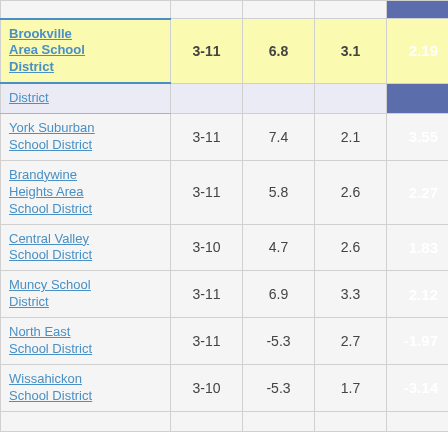| District Name | Grades | Col3 | Col4 | Col5 |
| --- | --- | --- | --- | --- |
| (partial top row) |  |  |  |  |
| Brookville Area School District | 3-11 | 6.8 | 3.1 | 2.19 |
| District |  |  |  |  |
| York Suburban School District | 3-11 | 7.4 | 2.1 | 3.55 |
| Brandywine Heights Area School District | 3-11 | 5.8 | 2.6 | 2.27 |
| Central Valley School District | 3-10 | 4.7 | 2.6 | 1.83 |
| Muncy School District | 3-11 | 6.9 | 3.3 | 2.12 |
| North East School District | 3-11 | -5.3 | 2.7 | -1.97 |
| Wissahickon School District | 3-10 | -5.3 | 1.7 | -3.14 |